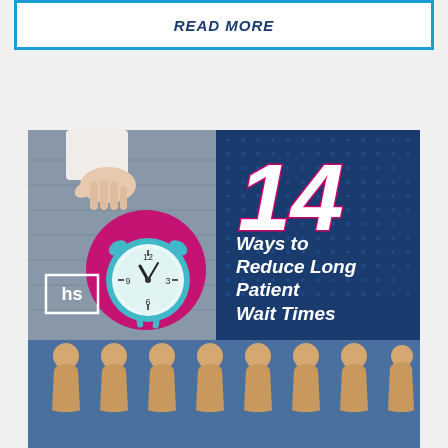READ MORE
[Figure (illustration): Promotional image showing a hand holding a teal alarm clock over a pink circle, with wooden peg figures at the bottom and text '14 Ways to Reduce Long Patient Wait Times' with hs logo]